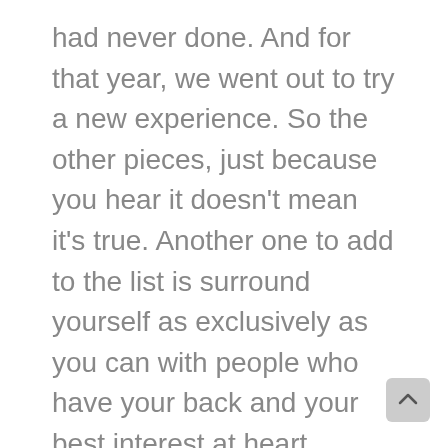had never done. And for that year, we went out to try a new experience. So the other pieces, just because you hear it doesn't mean it's true. Another one to add to the list is surround yourself as exclusively as you can with people who have your back and your best interest at heart.
HR: A synonym for that is people who are positive. Positive people. Not negative people. Positive.
DG: Yeah. Your thoughts define your actions. Your thoughts define your environment. So that's ano piece that's helped quite a bit. And the other one